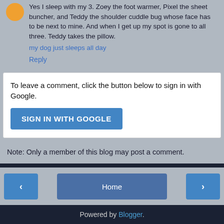Yes I sleep with my 3. Zoey the foot warmer, Pixel the sheet buncher, and Teddy the shoulder cuddle bug whose face has to be next to mine. And when I get up my spot is gone to all three. Teddy takes the pillow.
my dog just sleeps all day
Reply
To leave a comment, click the button below to sign in with Google.
SIGN IN WITH GOOGLE
Note: Only a member of this blog may post a comment.
Home
View web version
Powered by Blogger.